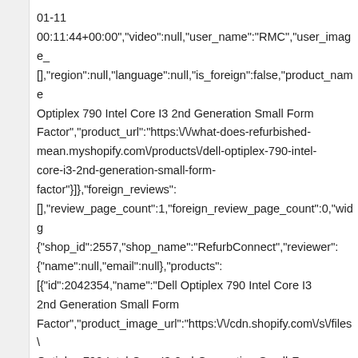01-11
00:11:44+00:00","video":null,"user_name":"RMC","user_image_
[],"region":null,"language":null,"is_foreign":false,"product_name
Optiplex 790 Intel Core I3 2nd Generation Small Form
Factor","product_url":"https:\/\/what-does-refurbished-
mean.myshopify.com\/products\/dell-optiplex-790-intel-
core-i3-2nd-generation-small-form-
factor"}]},"foreign_reviews":
[],"review_page_count":1,"foreign_review_page_count":0,"widg
{"shop_id":2557,"shop_name":"RefurbConnect","reviewer":
{"name":null,"email":null},"products":
[{"id":2042354,"name":"Dell Optiplex 790 Intel Core I3
2nd Generation Small Form
Factor","product_image_url":"https:\/\/cdn.shopify.com\/s\/files\
Optiplex-790-Intel-Core-I3-2nd-Generation-Small-Form-
Factor-Computer-RefurbConnect-Refurbished-Computers-
Laptops-Printers-New-York.jpg?
v=1634987494","custom_fields":